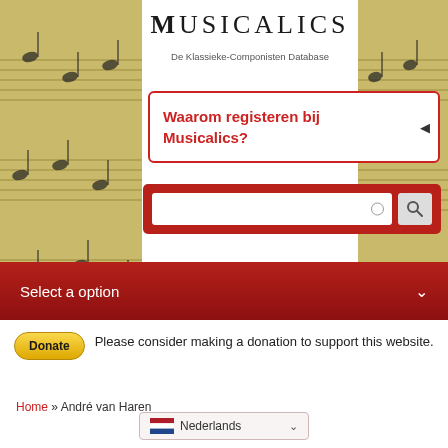Musicalics
De Klassieke-Componisten Database
Waarom registeren bij Musicalics?
[Figure (screenshot): Search bar with red background and search button]
Select a option
[Figure (other): Donate button (yellow/gold pill shape)]
Please consider making a donation to support this website.
Home » André van Haren
Nederlands